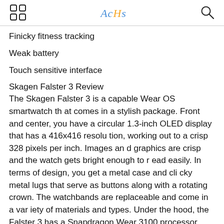AcHs
Finicky fitness tracking
Weak battery
Touch sensitive interface
Skagen Falster 3 Review
The Skagen Falster 3 is a capable Wear OS smartwatch that comes in a stylish package. Front and center, you have a circular 1.3-inch OLED display that has a 416x416 resolution, working out to a crisp 328 pixels per inch. Images and graphics are crisp and the watch gets bright enough to read easily. In terms of design, you get a metal case and clicky metal lugs that serve as buttons along with a rotating crown. The watchbands are replaceable and come in a variety of materials and types. Under the hood, the Falster 3 has a Snapdragon Wear 3100 processor which gets the j...